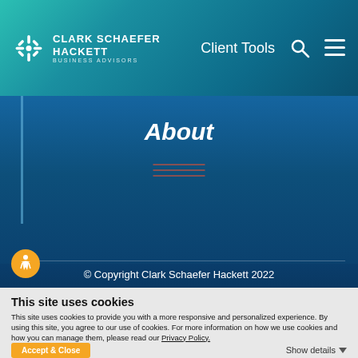[Figure (logo): Clark Schaefer Hackett Business Advisors logo with snowflake/asterisk icon in white, alongside navigation items Client Tools, search icon, and hamburger menu icon on teal-to-blue gradient header]
About
[Figure (other): Faint menu/navigation list items in dark red/orange on dark blue background, partially visible]
[Figure (other): Accessibility icon (orange circle with wheelchair symbol) and copyright footer with social media icons for Facebook, Twitter, LinkedIn on dark blue background]
© Copyright Clark Schaefer Hackett 2022
This site uses cookies
This site uses cookies to provide you with a more responsive and personalized experience. By using this site, you agree to our use of cookies. For more information on how we use cookies and how you can manage them, please read our Privacy Policy.
Accept & Close
Show details